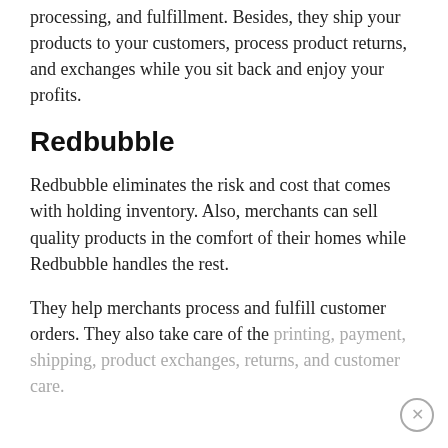Printify helps you handle warehousing, order processing, and fulfillment. Besides, they ship your products to your customers, process product returns, and exchanges while you sit back and enjoy your profits.
Redbubble
Redbubble eliminates the risk and cost that comes with holding inventory. Also, merchants can sell quality products in the comfort of their homes while Redbubble handles the rest.
They help merchants process and fulfill customer orders. They also take care of the printing, payment, shipping, product exchanges, returns, and customer care.